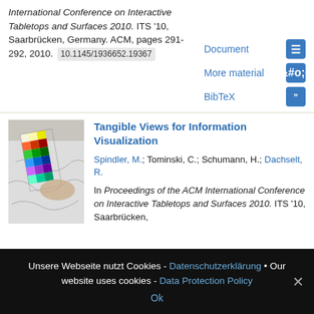International Conference on Interactive Tabletops and Surfaces 2010. ITS '10, Saarbrücken, Germany. ACM, pages 291-292, 2010. 10.1145/1936652.19367
Document | More material | BibTeX
Tangible Views for Information Visualization
Spindler, M.; Tominski, C.; Schumann, H.; Dachselt, R.
In Proceedings of the ACM International Conference on Interactive Tabletops and Surfaces 2010. ITS '10, Saarbrücken,
[Figure (photo): Photo of a hand holding a colored grid card over a map printout]
Unsere Webseite nutzt Cookies - Datenschutzerklärung • Our website uses cookies - Data Protection Policy
Ok